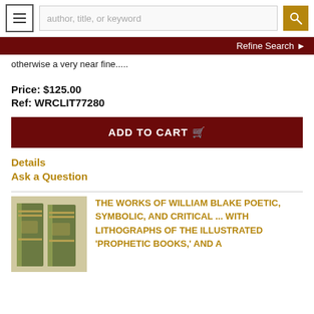author, title, or keyword | Refine Search
otherwise a very near fine.....
Price: $125.00
Ref: WRCLIT77280
ADD TO CART
Details
Ask a Question
[Figure (photo): Two green hardcover books standing upright]
THE WORKS OF WILLIAM BLAKE POETIC, SYMBOLIC, AND CRITICAL ... WITH LITHOGRAPHS OF THE ILLUSTRATED 'PROPHETIC BOOKS,' AND A